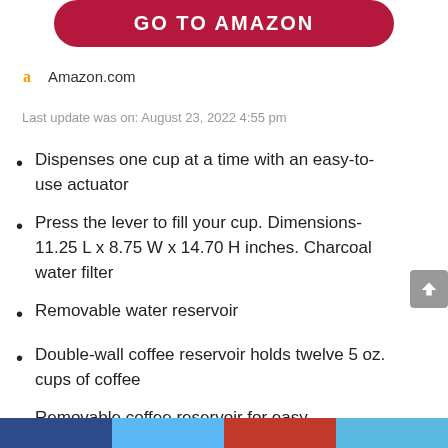[Figure (other): Red rounded button with text GO TO AMAZON in white capital letters]
Amazon.com
Last update was on: August 23, 2022 4:55 pm
Dispenses one cup at a time with an easy-to-use actuator
Press the lever to fill your cup. Dimensions- 11.25 L x 8.75 W x 14.70 H inches. Charcoal water filter
Removable water reservoir
Double-wall coffee reservoir holds twelve 5 oz. cups of coffee
Removable coffee reservoir for easy cleanup.UC Cubic Feet: 1.42